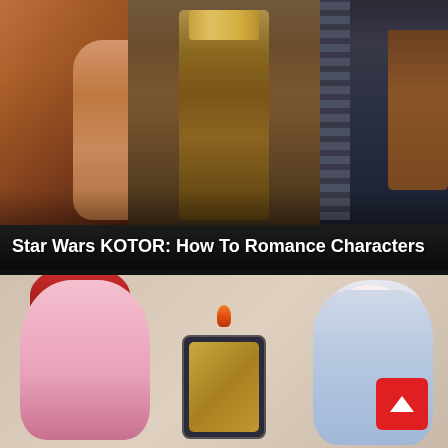[Figure (illustration): Three-panel banner image showing Star Wars KOTOR characters: a figure with reddish tones on the left, a central character in a brown military jacket with yellow shoulder markings, and a figure in blue/grey on the right with striped details.]
Star Wars KOTOR: How To Romance Characters
[Figure (illustration): Banner image showing anime-style game characters: a pink-haired girl in red and black outfit with teal eyes on the left, a central element with a phone/tablet showing golden content and a flame, and a white-haired girl in blue outfit with red eyes on the right. A red scroll-to-top button with an upward chevron is visible in the lower right.]